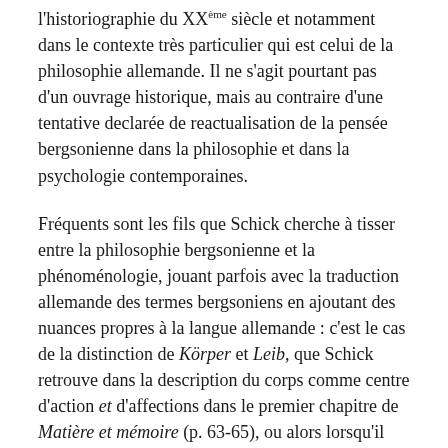l'historiographie du XXᵉᵐᵉ siècle et notamment dans le contexte très particulier qui est celui de la philosophie allemande. Il ne s'agit pourtant pas d'un ouvrage historique, mais au contraire d'une tentative declarée de reactualisation de la pensée bergsonienne dans la philosophie et dans la psychologie contemporaines.
Fréquents sont les fils que Schick cherche à tisser entre la philosophie bergsonienne et la phénoménologie, jouant parfois avec la traduction allemande des termes bergsoniens en ajoutant des nuances propres à la langue allemande : c'est le cas de la distinction de Körper et Leib, que Schick retrouve dans la description du corps comme centre d'action et d'affections dans le premier chapitre de Matière et mémoire (p. 63-65), ou alors lorsqu'il définit le terrain de l'expérience immédiate avec le terme husserlien de Lebenswelt (p. 15). Si dans ces cas il peut paraître que la traduction puisse forcer le sens propre du bergsonisme, ce ne sont pas rares les cas où l'auteur rend justice à Bergson en proposant des correction